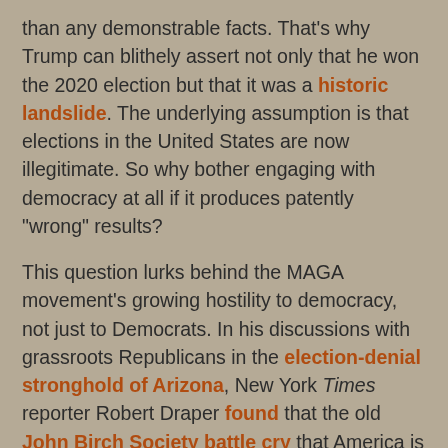than any demonstrable facts. That's why Trump can blithely assert not only that he won the 2020 election but that it was a historic landslide. The underlying assumption is that elections in the United States are now illegitimate. So why bother engaging with democracy at all if it produces patently "wrong" results?
This question lurks behind the MAGA movement's growing hostility to democracy, not just to Democrats. In his discussions with grassroots Republicans in the election-denial stronghold of Arizona, New York Times reporter Robert Draper found that the old John Birch Society battle cry that America is "a republic, not a democracy" is on many tongues:
"What is different now is the use of 'democracy' as a kind of shorthand and even a slur for Democrats themselves, for the left and all the positions espoused by the left, for hordes of would-be but surely unqualified or even